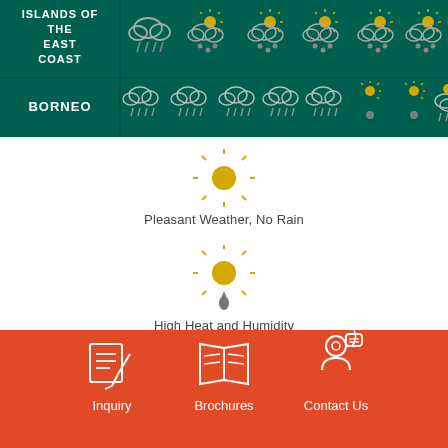[Figure (infographic): Row showing ISLANDS OF THE EAST COAST label with weather icons (heavy rain + sun/rain icons) for each month]
[Figure (infographic): Row showing BORNEO label with weather icons (cloud/rain and sun/rain icons) for each month]
[Figure (illustration): Sun icon representing Pleasant Weather, No Rain]
Pleasant Weather, No Rain
[Figure (illustration): Sun with rain drop icon representing High Heat and Humidity]
High Heat and Humidity
[Figure (infographic): Footer bar with Inquiry, Brochures, and Contact Us icons and labels]